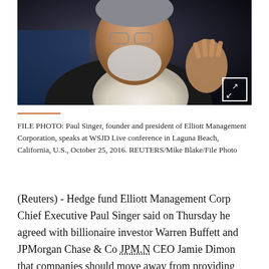[Figure (photo): FILE PHOTO of Paul Singer, an older man with white/grey beard and glasses on forehead, wearing a dark jacket and white shirt, gesturing with his right hand, speaking at a conference. Dark background.]
FILE PHOTO: Paul Singer, founder and president of Elliott Management Corporation, speaks at WSJD Live conference in Laguna Beach, California, U.S., October 25, 2016. REUTERS/Mike Blake/File Photo
(Reuters) - Hedge fund Elliott Management Corp Chief Executive Paul Singer said on Thursday he agreed with billionaire investor Warren Buffett and JPMorgan Chase & Co JPM.N CEO Jamie Dimon that companies should move away from providing quarterly earnings